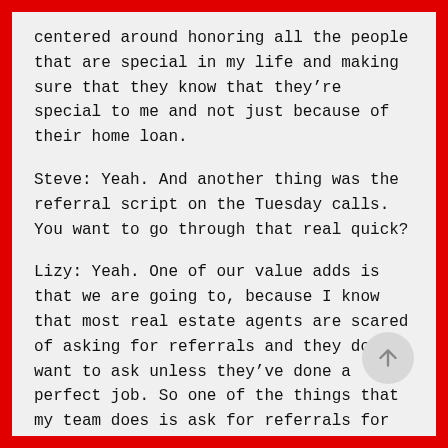centered around honoring all the people that are special in my life and making sure that they know that they’re special to me and not just because of their home loan.
Steve: Yeah. And another thing was the referral script on the Tuesday calls. You want to go through that real quick?
Lizy: Yeah. One of our value adds is that we are going to, because I know that most real estate agents are scared of asking for referrals and they don’t want to ask unless they’ve done a perfect job. So one of the things that my team does is ask for referrals for them. So every